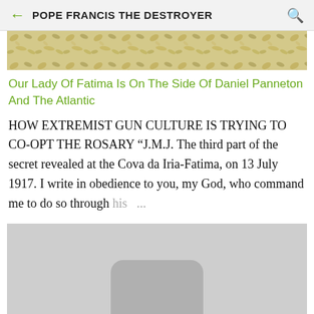POPE FRANCIS THE DESTROYER
[Figure (photo): Partial floral or textile image visible at top of content area]
Our Lady Of Fatima Is On The Side Of Daniel Panneton And The Atlantic
HOW EXTREMIST GUN CULTURE IS TRYING TO CO-OPT THE ROSARY “J.M.J. The third part of the secret revealed at the Cova da Iria-Fatima, on 13 July 1917. I write in obedience to you, my God, who command me to do so through his ...
[Figure (photo): Gray placeholder image with rounded rectangle shape at the bottom center]